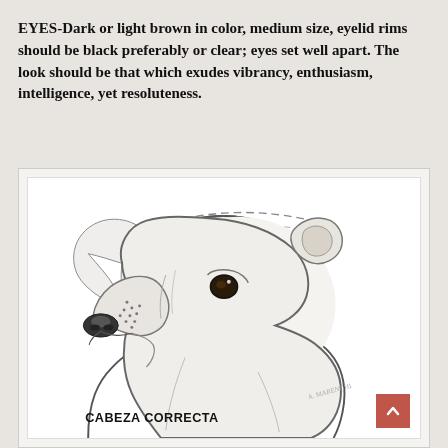EYES-Dark or light brown in color, medium size, eyelid rims should be black preferably or clear; eyes set well apart. The look should be that which exudes vibrancy, enthusiasm, intelligence, yet resoluteness.
[Figure (illustration): Pencil sketch illustration of a dog's head in profile facing left, labeled 'CABEZA CORRECTA' (correct head). The dog appears to be an American Staffordshire Terrier or similar breed, showing correct head proportions with dashed arc lines indicating skull measurements. Artist signature visible in lower right area.]
CABEZA CORRECTA